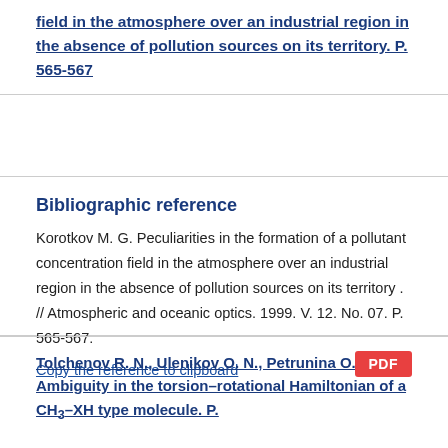field in the atmosphere over an industrial region in the absence of pollution sources on its territory. P. 565-567
Bibliographic reference
Korotkov M. G. Peculiarities in the formation of a pollutant concentration field in the atmosphere over an industrial region in the absence of pollution sources on its territory . // Atmospheric and oceanic optics. 1999. V. 12. No. 07. P. 565-567.
Copy the reference to clipboard
Tolchenov R. N., Ulenikov O. N., Petrunina O. L. Ambiguity in the torsion–rotational Hamiltonian of a CH3–XH type molecule. P.